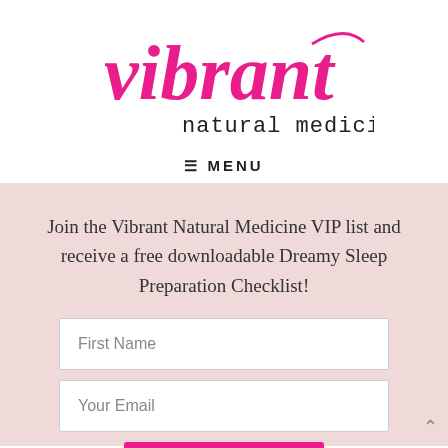[Figure (logo): Vibrant Natural Medicine logo — 'vibrant' in pink cursive script with 'natural medicine' below in black handwritten/typewriter style font]
≡ MENU
Join the Vibrant Natural Medicine VIP list and receive a free downloadable Dreamy Sleep Preparation Checklist!
First Name
Your Email
Subscribe